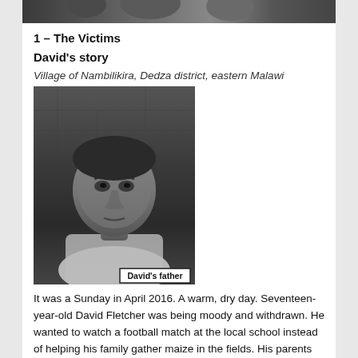[Figure (photo): Top partial photo, black and white, cropped at top of page]
1 – The Victims
David's story
Village of Nambilikira, Dedza district, eastern Malawi
[Figure (photo): Black and white portrait photograph of David's father, an older man standing against a brick wall. Caption reads 'David's father'.]
It was a Sunday in April 2016. A warm, dry day. Seventeen-year-old David Fletcher was being moody and withdrawn. He wanted to watch a football match at the local school instead of helping his family gather maize in the fields. His parents eventually relented and let him go.